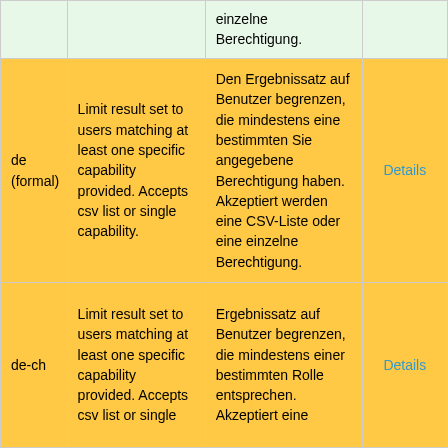|  |  |  |  |
| --- | --- | --- | --- |
|  |  | einzelne Berechtigung. |  |
| de (formal) | Limit result set to users matching at least one specific capability provided. Accepts csv list or single capability. | Den Ergebnissatz auf Benutzer begrenzen, die mindestens eine bestimmten Sie angegebene Berechtigung haben. Akzeptiert werden eine CSV-Liste oder eine einzelne Berechtigung. | Details |
| de-ch | Limit result set to users matching at least one specific capability provided. Accepts csv list or single | Ergebnissatz auf Benutzer begrenzen, die mindestens einer bestimmten Rolle entsprechen. Akzeptiert eine | Details |